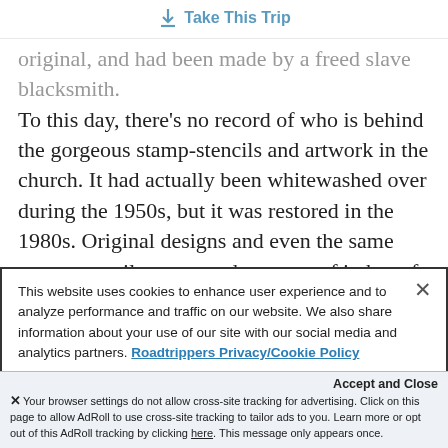Take This Trip
original, and had been made by a freed slave blacksmith. To this day, there's no record of who is behind the gorgeous stamp-stencils and artwork in the church. It had actually been whitewashed over during the 1950s, but it was restored in the 1980s. Original designs and even the same stamp-stencils were used on most of it, but of course, the parishioners added their own colorful details in as well.
This website uses cookies to enhance user experience and to analyze performance and traffic on our website. We also share information about your use of our site with our social media and analytics partners. Roadtrippers Privacy/Cookie Policy
Accept and Close
Your browser settings do not allow cross-site tracking for advertising. Click on this page to allow AdRoll to use cross-site tracking to tailor ads to you. Learn more or opt out of this AdRoll tracking by clicking here. This message only appears once.